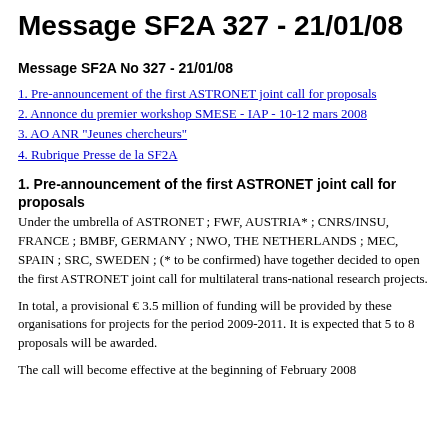Message SF2A 327 - 21/01/08
Message SF2A No 327 - 21/01/08
1. Pre-announcement of the first ASTRONET joint call for proposals
2. Annonce du premier workshop SMESE - IAP - 10-12 mars 2008
3. AO ANR "Jeunes chercheurs"
4. Rubrique Presse de la SF2A
1. Pre-announcement of the first ASTRONET joint call for proposals
Under the umbrella of ASTRONET ; FWF, AUSTRIA* ; CNRS/INSU, FRANCE ; BMBF, GERMANY ; NWO, THE NETHERLANDS ; MEC, SPAIN ; SRC, SWEDEN ; (* to be confirmed) have together decided to open the first ASTRONET joint call for multilateral trans-national research projects.
In total, a provisional € 3.5 million of funding will be provided by these organisations for projects for the period 2009-2011. It is expected that 5 to 8 proposals will be awarded.
The call will become effective at the beginning of February 2008